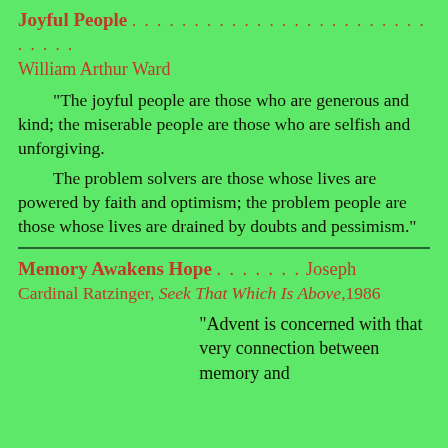Joyful People . . . . . . . . . . . . . . . . . . . . . . . . . . . . William Arthur Ward
"The joyful people are those who are generous and kind; the miserable people are those who are selfish and unforgiving.
The problem solvers are those whose lives are powered by faith and optimism; the problem people are those whose lives are drained by doubts and pessimism."
Memory Awakens Hope . . . . . . . Joseph Cardinal Ratzinger, Seek That Which Is Above, 1986
"Advent is concerned with that very connection between memory and